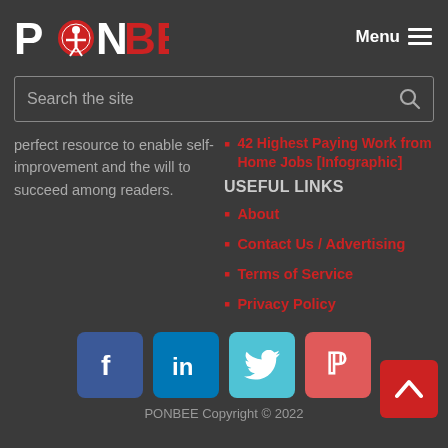[Figure (logo): PONBEE logo with red circular icon between P and N, and red BEE text]
Menu ≡
Search the site
perfect resource to enable self-improvement and the will to succeed among readers.
42 Highest Paying Work from Home Jobs [Infographic]
USEFUL LINKS
About
Contact Us / Advertising
Terms of Service
Privacy Policy
[Figure (infographic): Social media buttons: Facebook (blue), LinkedIn (blue), Twitter (cyan), Pinterest (red)]
PONBEE Copyright © 2022